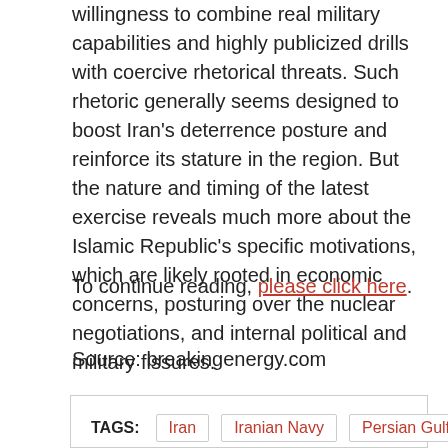willingness to combine real military capabilities and highly publicized drills with coercive rhetorical threats. Such rhetoric generally seems designed to boost Iran's deterrence posture and reinforce its stature in the region. But the nature and timing of the latest exercise reveals much more about the Islamic Republic's specific motivations, which are likely rooted in economic concerns, posturing over the nuclear negotiations, and internal political and military fissures.
To continue reading, please click here.
Source: breakingenergy.com
TAGS: Iran | Iranian Navy | Persian Gulf